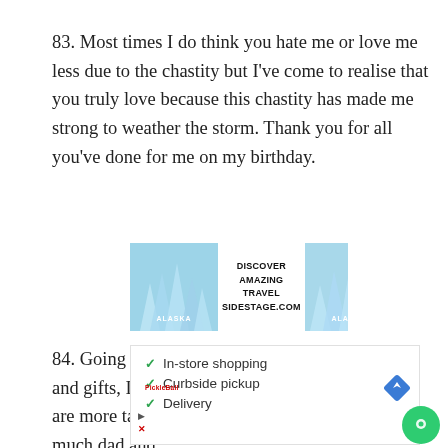83. Most times I do think you hate me or love me less due to the chastity but I've come to realise that you truly love because this chastity has made me strong to weather the storm. Thank you for all you've done for me on my birthday.
[Figure (infographic): Alaska travel advertisement banner with two ice/glacier photos on left and right labeled ALASKA, and center text reading DISCOVER AMAZING TRAVEL SIDESTAGE.COM]
84. Going through the birthday wishes, messages and gifts, I noticed that your love and care for me are more tangible than these gifts. Thank you so much dad and
[Figure (infographic): Advertisement overlay showing checkmarks for In-store shopping, Curbside pickup, Delivery with a navigation arrow icon and a chat bubble icon]